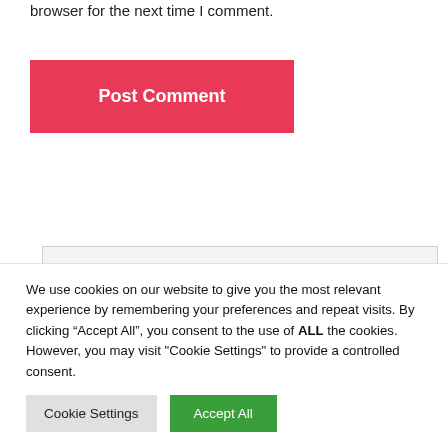browser for the next time I comment.
Post Comment
Search …
We use cookies on our website to give you the most relevant experience by remembering your preferences and repeat visits. By clicking "Accept All", you consent to the use of ALL the cookies. However, you may visit "Cookie Settings" to provide a controlled consent.
Cookie Settings
Accept All